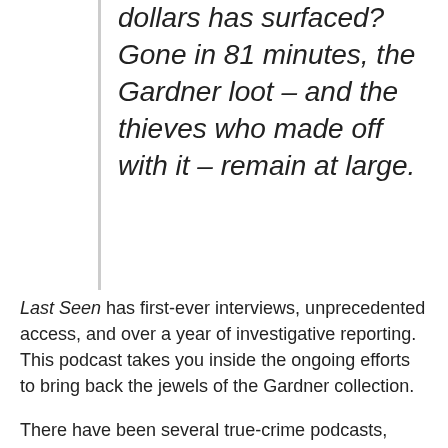dollars has surfaced? Gone in 81 minutes, the Gardner loot – and the thieves who made off with it – remain at large.
Last Seen has first-ever interviews, unprecedented access, and over a year of investigative reporting. This podcast takes you inside the ongoing efforts to bring back the jewels of the Gardner collection.
There have been several true-crime podcasts, some of which have become extremely popular. Last Seen is the first I have heard of that focuses on an art heist. I think this podcast will attract the